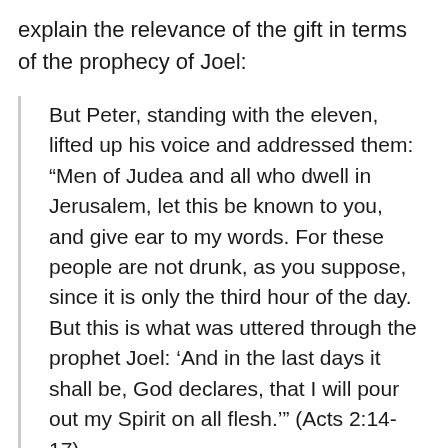explain the relevance of the gift in terms of the prophecy of Joel:
But Peter, standing with the eleven, lifted up his voice and addressed them: “Men of Judea and all who dwell in Jerusalem, let this be known to you, and give ear to my words. For these people are not drunk, as you suppose, since it is only the third hour of the day. But this is what was uttered through the prophet Joel: ‘And in the last days it shall be, God declares, that I will pour out my Spirit on all flesh.’” (Acts 2:14-17)
God gives the believer the Holy Spirit as a down payment on the fullness of the spiritual endowment and completion of the coming Messianic Era. He uses this...